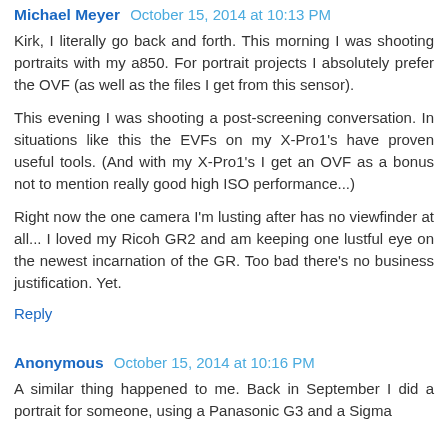Michael Meyer  October 15, 2014 at 10:13 PM
Kirk, I literally go back and forth. This morning I was shooting portraits with my a850. For portrait projects I absolutely prefer the OVF (as well as the files I get from this sensor).
This evening I was shooting a post-screening conversation. In situations like this the EVFs on my X-Pro1's have proven useful tools. (And with my X-Pro1's I get an OVF as a bonus not to mention really good high ISO performance...)
Right now the one camera I'm lusting after has no viewfinder at all... I loved my Ricoh GR2 and am keeping one lustful eye on the newest incarnation of the GR. Too bad there's no business justification. Yet.
Reply
Anonymous  October 15, 2014 at 10:16 PM
A similar thing happened to me. Back in September I did a portrait for someone, using a Panasonic G3 and a Sigma